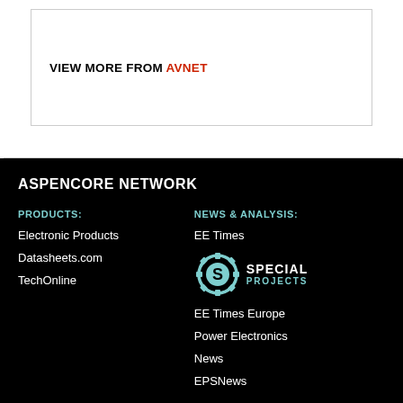VIEW MORE FROM AVNET
ASPENCORE NETWORK
PRODUCTS:
Electronic Products
Datasheets.com
TechOnline
NEWS & ANALYSIS:
EE Times
[Figure (logo): Special Projects logo with gear icon]
EE Times Europe
Power Electronics News
EPSNews